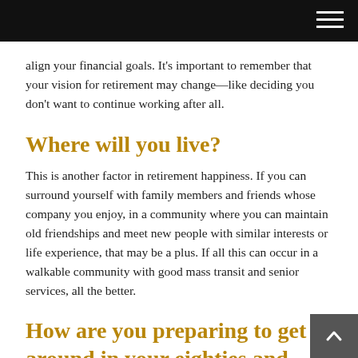align your financial goals. It's important to remember that your vision for retirement may change—like deciding you don't want to continue working after all.
Where will you live?
This is another factor in retirement happiness. If you can surround yourself with family members and friends whose company you enjoy, in a community where you can maintain old friendships and meet new people with similar interests or life experience, that may be a plus. If all this can occur in a walkable community with good mass transit and senior services, all the better.
How are you preparing to get around in your eighties and nineties?